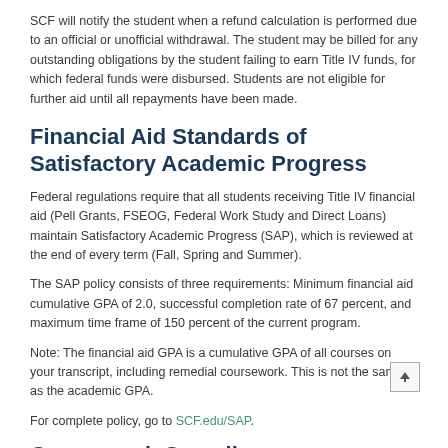SCF will notify the student when a refund calculation is performed due to an official or unofficial withdrawal. The student may be billed for any outstanding obligations by the student failing to earn Title IV funds, for which federal funds were disbursed. Students are not eligible for further aid until all repayments have been made.
Financial Aid Standards of Satisfactory Academic Progress
Federal regulations require that all students receiving Title IV financial aid (Pell Grants, FSEOG, Federal Work Study and Direct Loans) maintain Satisfactory Academic Progress (SAP), which is reviewed at the end of every term (Fall, Spring and Summer).
The SAP policy consists of three requirements: Minimum financial aid cumulative GPA of 2.0, successful completion rate of 67 percent, and maximum time frame of 150 percent of the current program.
Note: The financial aid GPA is a cumulative GPA of all courses on your transcript, including remedial coursework. This is not the same as the academic GPA.
For complete policy, go to SCF.edu/SAP.
Coursework Compliance